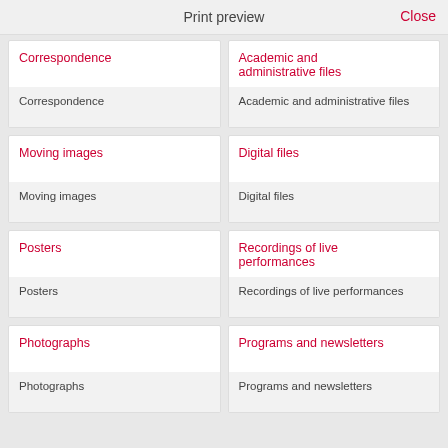Print preview   Close
Correspondence
Correspondence
Academic and administrative files
Academic and administrative files
Moving images
Moving images
Digital files
Digital files
Posters
Posters
Recordings of live performances
Recordings of live performances
Photographs
Photographs
Programs and newsletters
Programs and newsletters